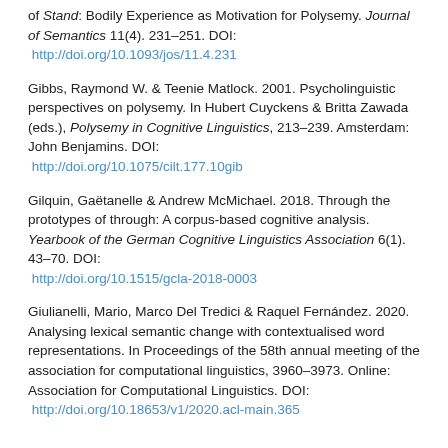of Stand: Bodily Experience as Motivation for Polysemy. Journal of Semantics 11(4). 231–251. DOI: http://doi.org/10.1093/jos/11.4.231
Gibbs, Raymond W. & Teenie Matlock. 2001. Psycholinguistic perspectives on polysemy. In Hubert Cuyckens & Britta Zawada (eds.), Polysemy in Cognitive Linguistics, 213–239. Amsterdam: John Benjamins. DOI: http://doi.org/10.1075/cilt.177.10gib
Gilquin, Gaëtanelle & Andrew McMichael. 2018. Through the prototypes of through: A corpus-based cognitive analysis. Yearbook of the German Cognitive Linguistics Association 6(1). 43–70. DOI: http://doi.org/10.1515/gcla-2018-0003
Giulianelli, Mario, Marco Del Tredici & Raquel Fernández. 2020. Analysing lexical semantic change with contextualised word representations. In Proceedings of the 58th annual meeting of the association for computational linguistics, 3960–3973. Online: Association for Computational Linguistics. DOI: http://doi.org/10.18653/v1/2020.acl-main.365